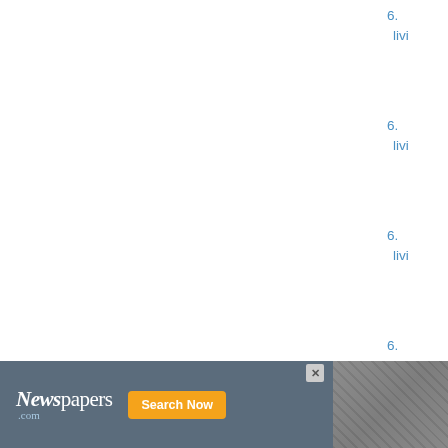6. livi
6. livi
6. livi
6. livi
5. Roberta Maude RUGGLES. Born 22 May 1918, Lyndonville, Caledonia County, Vermont, USA. Marr Harold Martin MCBRINE 19 January 1946, Lyndon, Caledonia County, Vermont. Died 26
[Figure (screenshot): Newspapers.com advertisement banner with logo, Search Now button, and photo of newspapers]